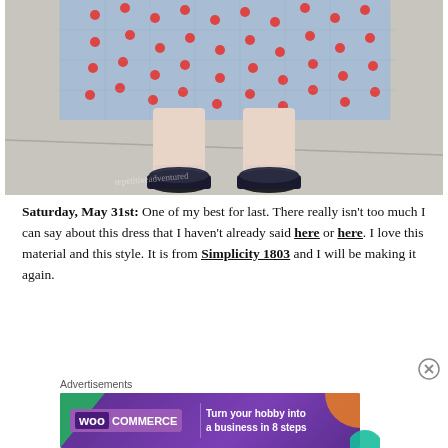[Figure (photo): Close-up photo of a person's legs and feet wearing a blue patterned dress with red dots and black Mary Jane shoes, standing on a sidewalk.]
Saturday, May 31st:  One of my best for last.  There really isn't too much I can say about this dress that I haven't already said here or here.  I love this material and this style.  It is from Simplicity 1803 and I will be making it again.
Advertisements
[Figure (other): WooCommerce advertisement banner: 'Turn your hobby into a business in 8 steps']